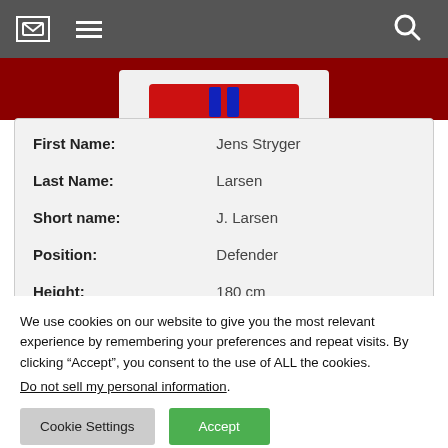Navigation header with mail icon, menu icon, and search icon
[Figure (photo): Partial player photo showing top of jersey in red and blue colors against white background, displayed on dark red background strip]
| Field | Value |
| --- | --- |
| First Name: | Jens Stryger |
| Last Name: | Larsen |
| Short name: | J. Larsen |
| Position: | Defender |
| Height: | 180 cm |
We use cookies on our website to give you the most relevant experience by remembering your preferences and repeat visits. By clicking “Accept”, you consent to the use of ALL the cookies.
Do not sell my personal information.
Cookie Settings  Accept